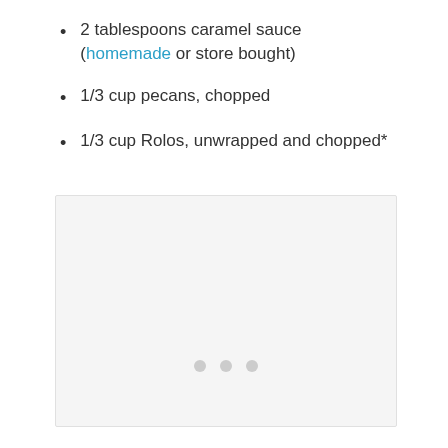2 tablespoons caramel sauce (homemade or store bought)
1/3 cup pecans, chopped
1/3 cup Rolos, unwrapped and chopped*
[Figure (photo): Light gray placeholder image box with three small gray dots centered near the bottom, indicating a loading or missing image area.]